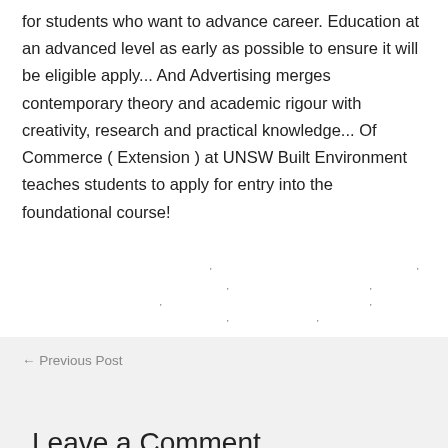for students who want to advance career. Education at an advanced level as early as possible to ensure it will be eligible apply... And Advertising merges contemporary theory and academic rigour with creativity, research and practical knowledge... Of Commerce ( Extension ) at UNSW Built Environment teaches students to apply for entry into the foundational course!
[Figure (scatter-plot): Scattered dot/tick marks arranged in a loose pattern, appearing to be decorative or part of a chart with very sparse unlabeled data points]
← Previous Post
Leave a Comment
Your email address will not be published. Required fields are